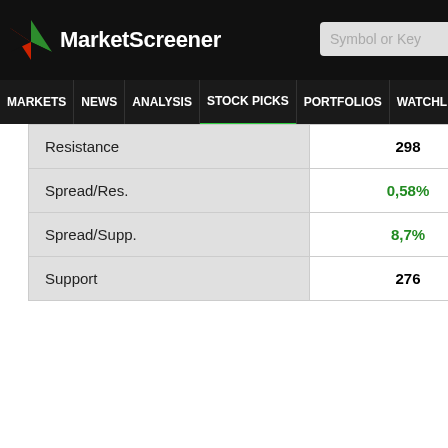MarketScreener — Symbol or Key
MARKETS NEWS ANALYSIS STOCK PICKS PORTFOLIOS WATCHLI
|  |  |  |  |
| --- | --- | --- | --- |
| Resistance | 298 | 356 | 349 |
| Spread/Res. | 0,58% | -16% | -14% |
| Spread/Supp. | 8,7% | 36% | 36% |
| Support | 276 | 220 | 220 |